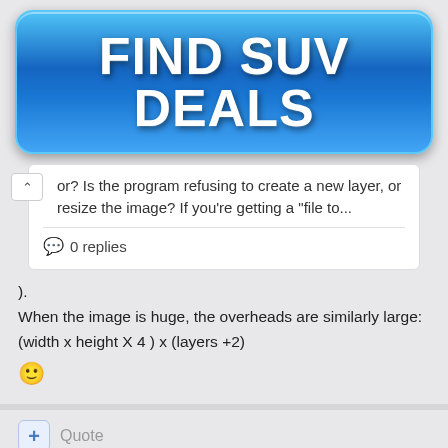[Figure (screenshot): Blue glossy advertisement banner button with text 'FIND SUV DEALS' in bold white letters]
or? Is the program refusing to create a new layer, or resize the image? If you're getting a "file to...
0 replies
).
When the image is huge, the overheads are similarly large:
(width x height X 4 ) x (layers +2)
Quote
david.atwell
Posted September 25, 2011